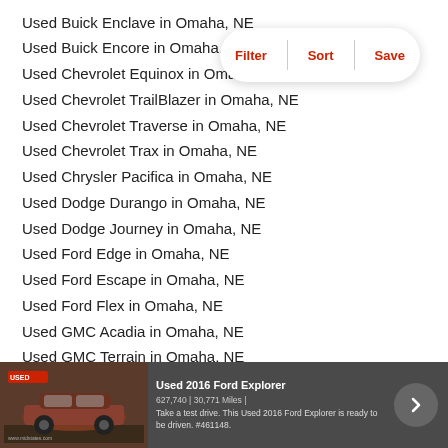Used Buick Enclave in Omaha, NE
Used Buick Encore in Omaha, NE
Used Chevrolet Equinox in Omaha, NE
Used Chevrolet TrailBlazer in Omaha, NE
Used Chevrolet Traverse in Omaha, NE
Used Chevrolet Trax in Omaha, NE
Used Chrysler Pacifica in Omaha, NE
Used Dodge Durango in Omaha, NE
Used Dodge Journey in Omaha, NE
Used Ford Edge in Omaha, NE
Used Ford Escape in Omaha, NE
Used Ford Flex in Omaha, NE
Used GMC Acadia in Omaha, NE
Used GMC Terrain in Omaha, NE
Used Honda CR-V in Omaha, NE
Used Honda Pilot in Omaha, NE
Used Hyundai Santa Fe Sport in Omaha, NE
Used Hyundai Santa Fe in Omaha, NE
Used Hyundai Tucson in Omaha, NE
[Figure (screenshot): Advertisement banner for Used 2016 Ford Explorer with car photo, text 'Used 2016 Ford Explorer', miles, and description, with a right-arrow navigation button]